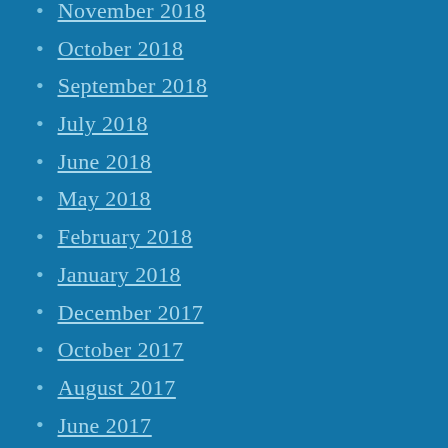November 2018
October 2018
September 2018
July 2018
June 2018
May 2018
February 2018
January 2018
December 2017
October 2017
August 2017
June 2017
February 2017
July 2016
June 2016
February 2016
November 2015